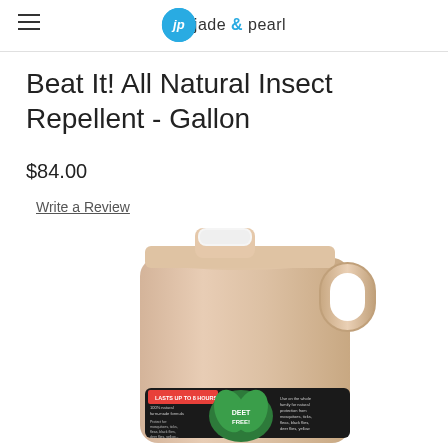jade jp & pearl
Beat It! All Natural Insect Repellent - Gallon
$84.00
Write a Review
[Figure (photo): A gallon jug of Beat It! All Natural Insect Repellent filled with amber-colored liquid. The jug has a white cap and handle. The label at the bottom reads 'LASTS UP TO 8 HOURS!', '100% natural formula', 'DEET FREE!', and mentions protection from mosquitoes, ticks, fleas, black flies, deer flies, yellow jackets.]